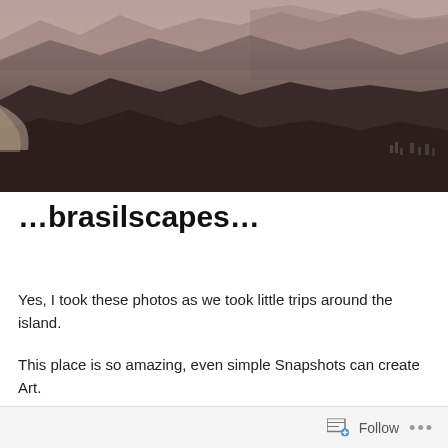[Figure (photo): Aerial/elevated view of Rio de Janeiro landscape: layers of dark mountain ridges in the foreground, a beach (Copacabana) curving along the left, city buildings visible at lower right, and misty mountains including Corcovado in the background under a hazy pinkish-grey sky.]
…brasilscapes…
Yes, I took these photos as we took little trips around the island.
This place is so amazing, even simple Snapshots can create Art.
Follow   ...